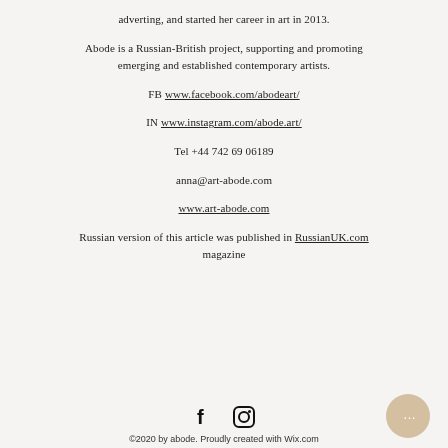adverting, and started her career in art in 2013.
Abode is a Russian-British project, supporting and promoting emerging and established contemporary artists.
FB www.facebook.com/abodeart/
IN www.instagram.com/abode.art/
Tel +44 742 69 06189
anna@art-abode.com
www.art-abode.com
Russian version of this article was published in RussianUK.com magazine
©2020 by abode. Proudly created with Wix.com